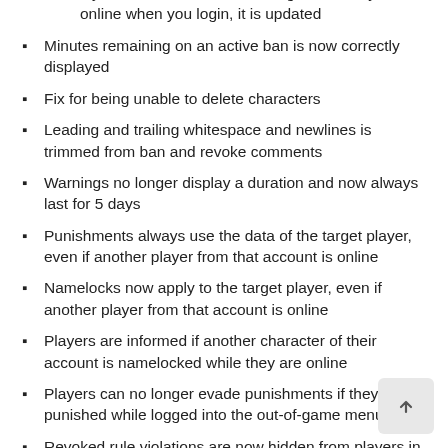if your friend's name has changed and they are online when you login, it is updated
Minutes remaining on an active ban is now correctly displayed
Fix for being unable to delete characters
Leading and trailing whitespace and newlines is trimmed from ban and revoke comments
Warnings no longer display a duration and now always last for 5 days
Punishments always use the data of the target player, even if another player from that account is online
Namelocks now apply to the target player, even if another player from that account is online
Players are informed if another character of their account is namelocked while they are online
Players can no longer evade punishments if they are punished while logged into the out-of-game menu
Revoked rule violations are now hidden from players in their